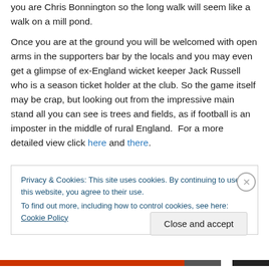you are Chris Bonnington so the long walk will seem like a walk on a mill pond.
Once you are at the ground you will be welcomed with open arms in the supporters bar by the locals and you may even get a glimpse of ex-England wicket keeper Jack Russell who is a season ticket holder at the club. So the game itself may be crap, but looking out from the impressive main stand all you can see is trees and fields, as if football is an imposter in the middle of rural England. For a more detailed view click here and there.
Privacy & Cookies: This site uses cookies. By continuing to use this website, you agree to their use. To find out more, including how to control cookies, see here: Cookie Policy
Close and accept